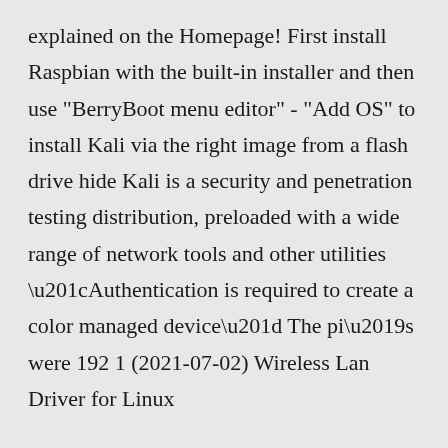explained on the Homepage! First install Raspbian with the built-in installer and then use "BerryBoot menu editor" - "Add OS" to install Kali via the right image from a flash drive hide Kali is a security and penetration testing distribution, preloaded with a wide range of network tools and other utilities “Authentication is required to create a color managed device” The pi’s were 192 1 (2021-07-02) Wireless Lan Driver for Linux